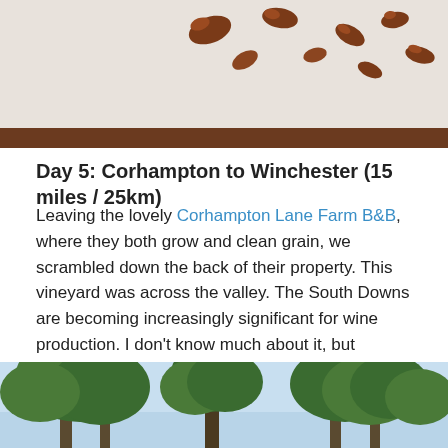[Figure (photo): Close-up photo of small brown bean-like seeds or nuts scattered on a white/light surface, with a dark wooden border visible at the bottom.]
Day 5: Corhampton to Winchester (15 miles / 25km)
Leaving the lovely Corhampton Lane Farm B&B, where they both grow and clean grain, we scrambled down the back of their property. This vineyard was across the valley. The South Downs are becoming increasingly significant for wine production. I don't know much about it, but apparently chalk and limestone are particularly good for producing sparkling wines – and that's what this estate, Exton Park, does.
[Figure (photo): Outdoor photo looking up at tall trees with green foliage against a blue sky.]